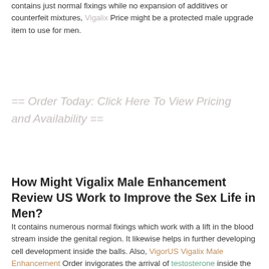contains just normal fixings while no expansion of additives or counterfeit mixtures, Vigalix Price might be a protected male upgrade item to use for men.
== Order Today: Click Here To View Pricing and Availability ==
How Might Vigalix Male Enhancement Review US Work to Improve the Sex Life in Men?
It contains numerous normal fixings which work with a lift in the blood stream inside the genital region. It likewise helps in further developing cell development inside the balls. Also, VigorUS Vigalix Male Enhancement Order invigorates the arrival of testosterone inside the balls by delivering luteinizing chemical in gonads.